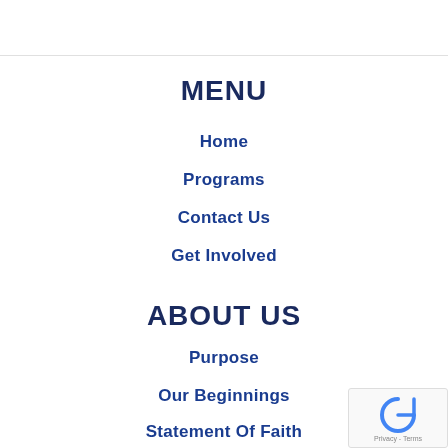MENU
Home
Programs
Contact Us
Get Involved
ABOUT US
Purpose
Our Beginnings
Statement Of Faith